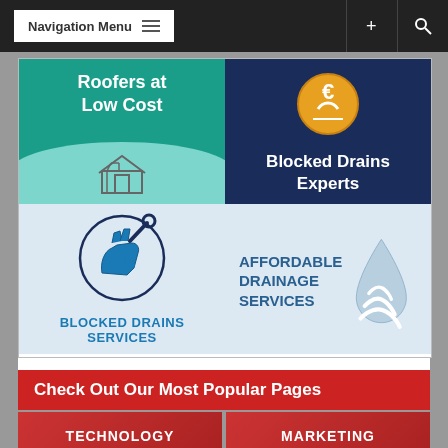Navigation Menu
[Figure (screenshot): Four service advertisement tiles: Roofers at Low Cost, Blocked Drains Experts, Blocked Drains Services, Affordable Drainage Services]
Check Out Our Most Popular Pages
[Figure (screenshot): Two category tiles: TECHNOLOGY and MARKETING]